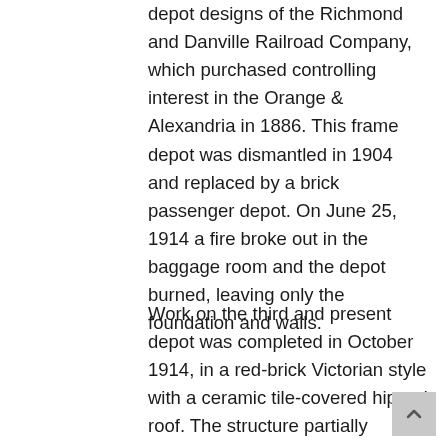depot designs of the Richmond and Danville Railroad Company, which purchased controlling interest in the Orange & Alexandria in 1886. This frame depot was dismantled in 1904 and replaced by a brick passenger depot. On June 25, 1914 a fire broke out in the baggage room and the depot burned, leaving only the foundation and walls.
Work on the third and present depot was completed in October 1914, in a red-brick Victorian style with a ceramic tile-covered hipped roof. The structure partially incorporated the walls of the burned depot, which measured about 20 feet by 77 feet, and had four new rooms; an office, a ladies' waiting room, men's waiting room and a baggage and express room. The “new” structure is about 32 feet longer than the earlier one permitting a